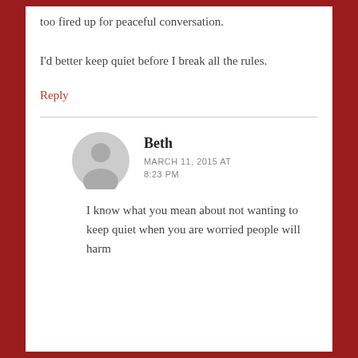too fired up for peaceful conversation.
I'd better keep quiet before I break all the rules.
Reply
Beth
MARCH 11, 2015 AT 8:23 PM
I know what you mean about not wanting to keep quiet when you are worried people will harm